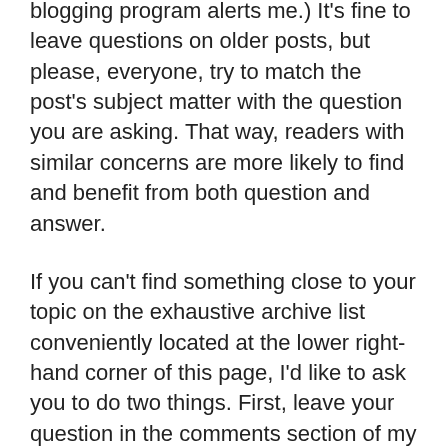blogging program alerts me.) It's fine to leave questions on older posts, but please, everyone, try to match the post's subject matter with the question you are asking. That way, readers with similar concerns are more likely to find and benefit from both question and answer.
If you can't find something close to your topic on the exhaustive archive list conveniently located at the lower right-hand corner of this page, I'd like to ask you to do two things. First, leave your question in the comments section of my most recent post (again, to maximize its usefulness to other readers).